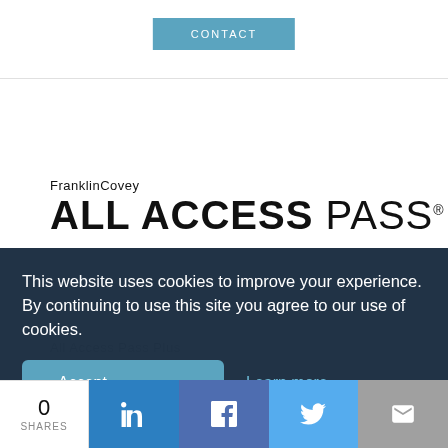CONTACT
[Figure (logo): FranklinCovey ALL ACCESS PASS logo with large bold uppercase text and trademark symbol]
This website uses cookies to improve your experience. By continuing to use this site you agree to our use of cookies.
Accept  Learn more
All Access Pass Plus
built for organizations that need to solve fo...
0 SHARES | LinkedIn | Facebook | Twitter | Email